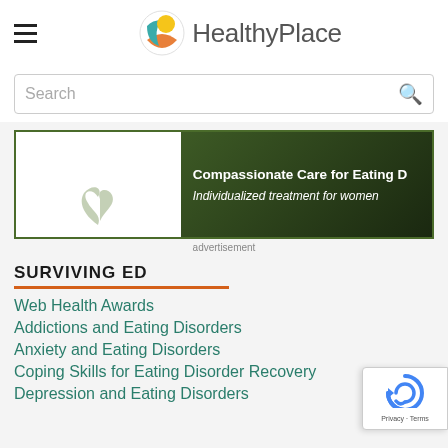HealthyPlace
Search
[Figure (advertisement): Ad banner for eating disorder treatment: 'Compassionate Care for Eating [Disorders]' / 'Individualized treatment for women']
advertisement
SURVIVING ED
Web Health Awards
Addictions and Eating Disorders
Anxiety and Eating Disorders
Coping Skills for Eating Disorder Recovery
Depression and Eating Disorders